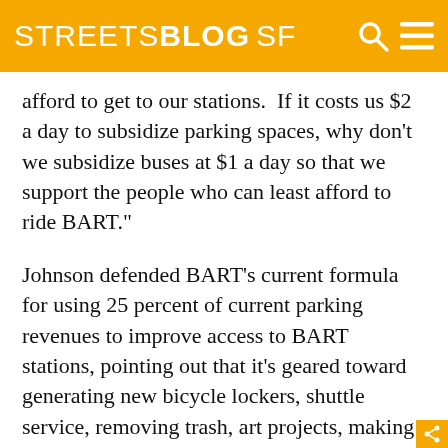STREETSBLOG SF
afford to get to our stations.  If it costs us $2 a day to subsidize parking spaces, why don't we subsidize buses at $1 a day so that we support the people who can least afford to ride BART."
Johnson defended BART’s current formula for using 25 percent of current parking revenues to improve access to BART stations, pointing out that it’s geared toward generating new bicycle lockers, shuttle service, removing trash, art projects, making the parking lots and areas look better, and for leveraging